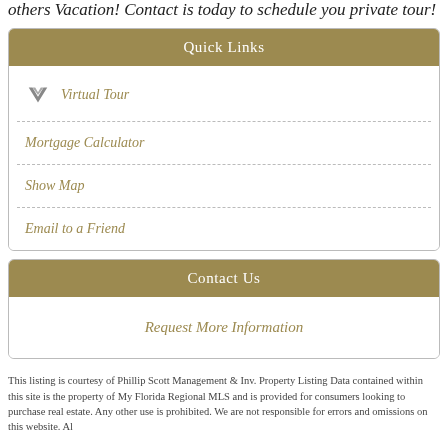others Vacation! Contact is today to schedule you private tour!
Quick Links
Virtual Tour
Mortgage Calculator
Show Map
Email to a Friend
Contact Us
Request More Information
This listing is courtesy of Phillip Scott Management & Inv. Property Listing Data contained within this site is the property of My Florida Regional MLS and is provided for consumers looking to purchase real estate. Any other use is prohibited. We are not responsible for errors and omissions on this website. Al